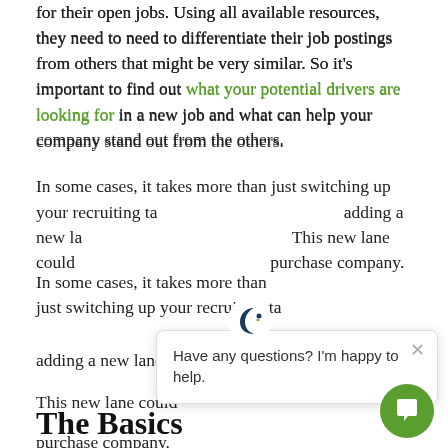recruiters work hard to find the best candidates for their open jobs. Using all available resources, they need to need to differentiate their job postings from others that might be very similar. So it's important to find out what your potential drivers are looking for in a new job and what can help your company stand out from the others.
In some cases, it takes more than just switching up your recruiting tactics. Sometimes it means adding a new lane to your trucking company. This new lane could be owner-operator or lease purchase company.
[Figure (other): Chat popup overlay with a crescent moon logo icon, close button (×), and text 'Have any questions? I'm happy to help.' A green circular chat button appears at bottom right.]
The Basics